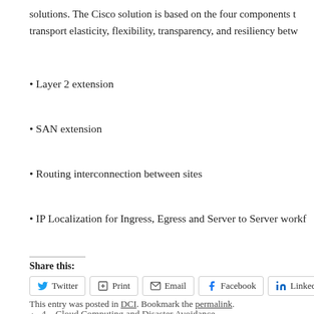solutions. The Cisco solution is based on the four components that provide transport elasticity, flexibility, transparency, and resiliency betw...
• Layer 2 extension
• SAN extension
• Routing interconnection between sites
• IP Localization for Ingress, Egress and Server to Server workf...
Share this:
Twitter  Print  Email  Facebook  LinkedIn
This entry was posted in DCI. Bookmark the permalink.
← 4 – Cloud Computing and Disaster Avoidance